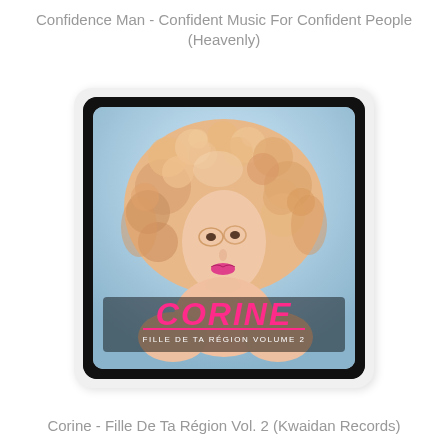Confidence Man - Confident Music For Confident People (Heavenly)
[Figure (illustration): Album cover for Corine - Fille De Ta Région Volume 2. Shows a woman with voluminous curly blonde hair wearing small round glasses on a light blue background. The text 'CORINE' appears in large pink/magenta stylized lettering and 'FILLE DE TA RÉGION VOLUME 2' in smaller text below. The image has a black border with rounded corners.]
Corine - Fille De Ta Région Vol. 2 (Kwaidan Records)